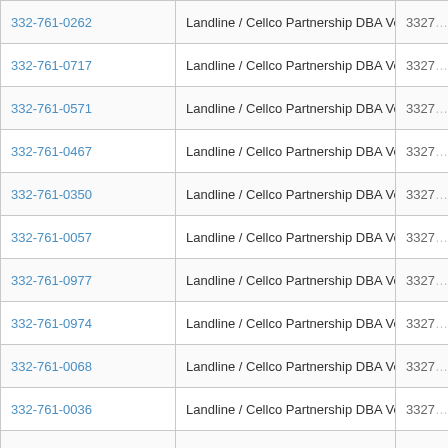| Phone | Type / Carrier |  |
| --- | --- | --- |
| 332-761-0262 | Landline / Cellco Partnership DBA Verizon Wireless | 3327 |
| 332-761-0717 | Landline / Cellco Partnership DBA Verizon Wireless | 3327 |
| 332-761-0571 | Landline / Cellco Partnership DBA Verizon Wireless | 3327 |
| 332-761-0467 | Landline / Cellco Partnership DBA Verizon Wireless | 3327 |
| 332-761-0350 | Landline / Cellco Partnership DBA Verizon Wireless | 3327 |
| 332-761-0057 | Landline / Cellco Partnership DBA Verizon Wireless | 3327 |
| 332-761-0977 | Landline / Cellco Partnership DBA Verizon Wireless | 3327 |
| 332-761-0974 | Landline / Cellco Partnership DBA Verizon Wireless | 3327 |
| 332-761-0068 | Landline / Cellco Partnership DBA Verizon Wireless | 3327 |
| 332-761-0036 | Landline / Cellco Partnership DBA Verizon Wireless | 3327 |
| 332-761-0215 | Landline / Cellco Partnership DBA Verizon Wireless | 3327 |
| 332-761-0139 | Landline / Cellco Partnership DBA Verizon Wireless | 3327 |
| 332-761-0737 | Landline / Cellco Partnership DBA Verizon Wireless | 3327 |
| 332-761-0295 | Landline / Cellco Partnership DBA Verizon Wireless | 3327 |
| 332-761-0419 | Landline / Cellco Partnership DBA Verizon Wireless | 3327 |
| 332-761-0624 | Landline / Cellco Partnership DBA Verizon Wireless | 27 |
| 332-761-0846 | Landline / Cellco Partnership DBA Verizon Wireless | 3327 |
| 332-761-0801 | Landline / Cellco Partnership DBA Verizon Wireless | 3327 |
| 332-761-0070 | Landline / Cellco Partnership DBA Verizon Wireless | 3327 |